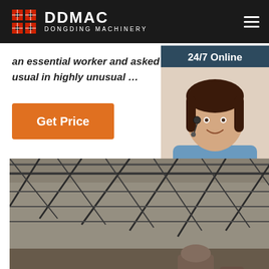DDMAC DONGDING MACHINERY
an essential worker and asked to continue business-as-usual in highly unusual …
[Figure (other): Orange 'Get Price' button]
[Figure (other): Sidebar with '24/7 Online' label, agent photo with headset, 'Click here for free chat!' text, and orange QUOTATION button]
[Figure (photo): Interior of an industrial warehouse with steel truss roof structure and machinery]